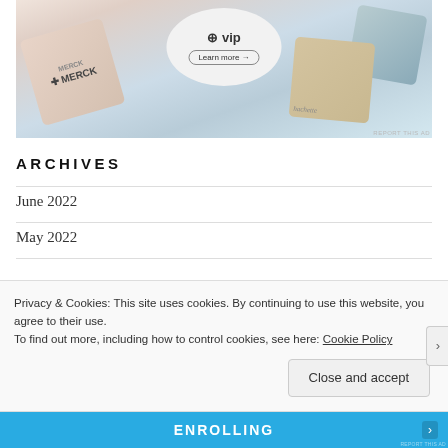[Figure (screenshot): WordPress VIP advertisement banner showing Merck and other brand logos arranged around a central VIP logo with a 'Learn more' button]
ARCHIVES
June 2022
May 2022
Privacy & Cookies: This site uses cookies. By continuing to use this website, you agree to their use.
To find out more, including how to control cookies, see here: Cookie Policy
Close and accept